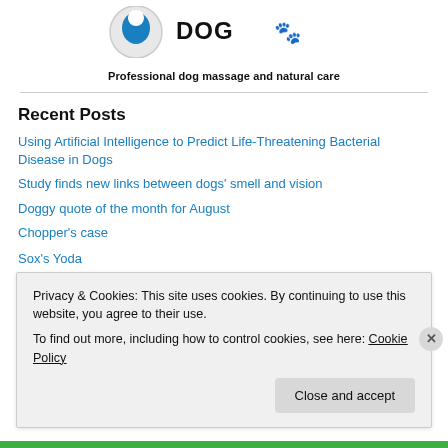[Figure (logo): Circular logo with blue shield/dog icon and text 'DOG' with paw print]
Professional dog massage and natural care
Recent Posts
Using Artificial Intelligence to Predict Life-Threatening Bacterial Disease in Dogs
Study finds new links between dogs' smell and vision
Doggy quote of the month for August
Chopper's case
Sox's Yoda
Privacy & Cookies: This site uses cookies. By continuing to use this website, you agree to their use.
To find out more, including how to control cookies, see here: Cookie Policy